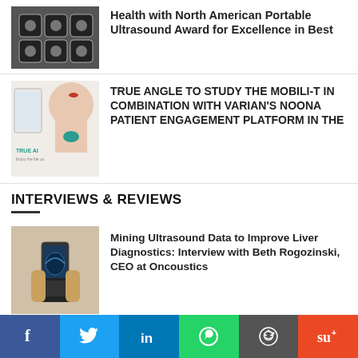[Figure (photo): Robotic/medical device components on dark background]
Health with North American Portable Ultrasound Award for Excellence in Best
[Figure (photo): True Angle product image — woman wearing neck device, TRUE AI logo]
TRUE ANGLE TO STUDY THE MOBILI-T IN COMBINATION WITH VARIAN'S NOONA PATIENT ENGAGEMENT PLATFORM IN THE
INTERVIEWS & REVIEWS
[Figure (photo): Person holding smartphone showing ultrasound image]
Mining Ultrasound Data to Improve Liver Diagnostics: Interview with Beth Rogozinski, CEO at Oncoustics
[Figure (logo): Circular blue arc logo for Bright Uro]
Catheter-Free Urodynamics Testing: Interview with Derek Herrera, CEO at Bright Uro
[Figure (infographic): Social sharing bar: Facebook, Twitter, LinkedIn, WhatsApp, Reddit, StumbleUpon]